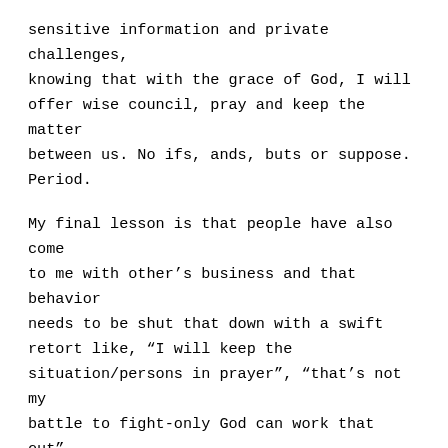sensitive information and private challenges, knowing that with the grace of God, I will offer wise council, pray and keep the matter between us. No ifs, ands, buts or suppose. Period.
My final lesson is that people have also come to me with other's business and that behavior needs to be shut that down with a swift retort like, “I will keep the situation/persons in prayer”, “that’s not my battle to fight-only God can work that out”, or “have you been praying for them?” Talking about someone is not as effective as praying for them. I’m not saying that we can’t talk